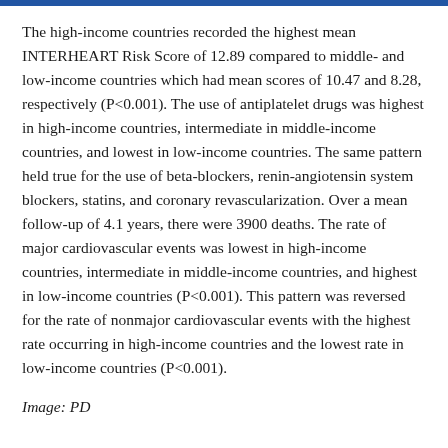The high-income countries recorded the highest mean INTERHEART Risk Score of 12.89 compared to middle- and low-income countries which had mean scores of 10.47 and 8.28, respectively (P<0.001). The use of antiplatelet drugs was highest in high-income countries, intermediate in middle-income countries, and lowest in low-income countries. The same pattern held true for the use of beta-blockers, renin-angiotensin system blockers, statins, and coronary revascularization. Over a mean follow-up of 4.1 years, there were 3900 deaths. The rate of major cardiovascular events was lowest in high-income countries, intermediate in middle-income countries, and highest in low-income countries (P<0.001). This pattern was reversed for the rate of nonmajor cardiovascular events with the highest rate occurring in high-income countries and the lowest rate in low-income countries (P<0.001).
Image: PD